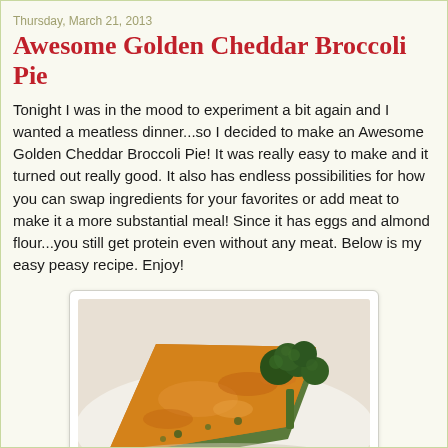Thursday, March 21, 2013
Awesome Golden Cheddar Broccoli Pie
Tonight I was in the mood to experiment a bit again and I wanted a meatless dinner...so I decided to make an Awesome Golden Cheddar Broccoli Pie!  It was really easy to make and it turned out really good.  It also has endless possibilities for how you can swap ingredients for your favorites or add meat to make it a more substantial meal!  Since it has eggs and almond flour...you still get protein even without any meat.  Below is my easy peasy recipe.  Enjoy!
[Figure (photo): A slice of golden cheddar broccoli pie with a broccoli floret garnish on a white plate]